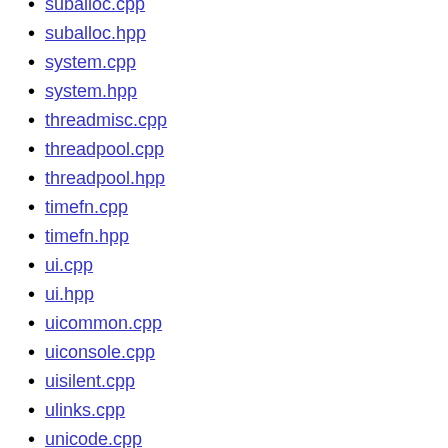suballoc.cpp
suballoc.hpp
system.cpp
system.hpp
threadmisc.cpp
threadpool.cpp
threadpool.hpp
timefn.cpp
timefn.hpp
ui.cpp
ui.hpp
uicommon.cpp
uiconsole.cpp
uisilent.cpp
ulinks.cpp
unicode.cpp
unicode.hpp
unpack.cpp
unpack.hpp
unpack15.cpp
unpack20.cpp
unpack30.cpp
unpack50.cpp
unpack50frag.cpp
unpack50mt.cpp